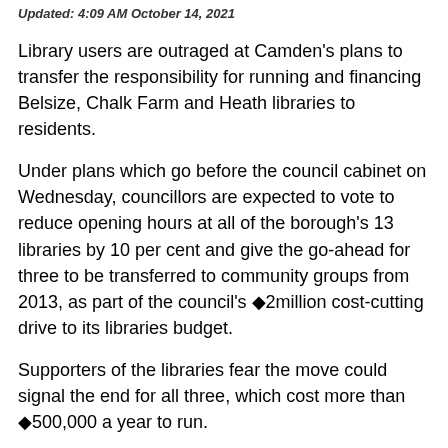Updated: 4:09 AM October 14, 2021
Library users are outraged at Camden's plans to transfer the responsibility for running and financing Belsize, Chalk Farm and Heath libraries to residents.
Under plans which go before the council cabinet on Wednesday, councillors are expected to vote to reduce opening hours at all of the borough's 13 libraries by 10 per cent and give the go-ahead for three to be transferred to community groups from 2013, as part of the council's ◆2million cost-cutting drive to its libraries budget.
Supporters of the libraries fear the move could signal the end for all three, which cost more than ◆500,000 a year to run.
Two other proposals involve closing seven libraries or reducing opening hours at all 13 by 25 per cent, and